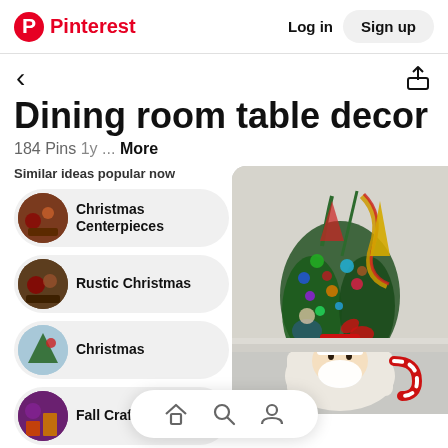Pinterest — Log in   Sign up
Dining room table decor
184 Pins 1y ... More
Similar ideas popular now
Christmas Centerpieces
Rustic Christmas
Christmas
Fall Crafts
[Figure (photo): Christmas centerpiece with bottle brush trees, colorful ornaments, and a Santa Claus mug with red candy cane handle]
Home  Search  Profile (bottom navigation)